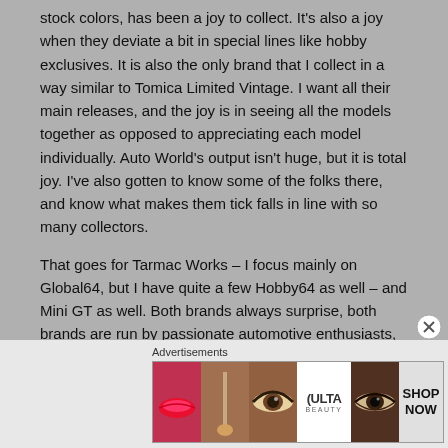stock colors, has been a joy to collect. It's also a joy when they deviate a bit in special lines like hobby exclusives. It is also the only brand that I collect in a way similar to Tomica Limited Vintage. I want all their main releases, and the joy is in seeing all the models together as opposed to appreciating each model individually. Auto World's output isn't huge, but it is total joy. I've also gotten to know some of the folks there, and know what makes them tick falls in line with so many collectors.
That goes for Tarmac Works – I focus mainly on Global64, but I have quite a few Hobby64 as well – and Mini GT as well. Both brands always surprise, both brands are run by passionate automotive enthusiasts, and both brands always want to expand and improve. They aren't afraid to try new things and take risks.
[Figure (other): Advertisement banner for ULTA Beauty showing close-up images of lips with lipstick, a makeup brush, an eye with eyeshadow, the ULTA Beauty logo, another eye with dramatic makeup, and a 'SHOP NOW' call to action panel.]